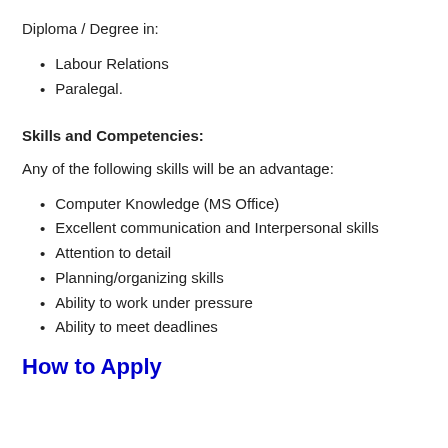Diploma / Degree in:
Labour Relations
Paralegal.
Skills and Competencies:
Any of the following skills will be an advantage:
Computer Knowledge (MS Office)
Excellent communication and Interpersonal skills
Attention to detail
Planning/organizing skills
Ability to work under pressure
Ability to meet deadlines
How to Apply